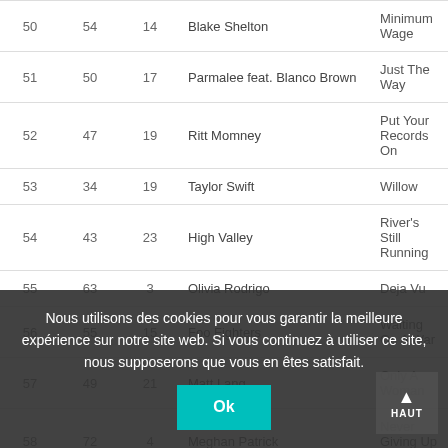| # | LW | WK | Artist | Song |
| --- | --- | --- | --- | --- |
| 50 | 54 | 14 | Blake Shelton | Minimum Wage |
| 51 | 50 | 17 | Parmalee feat. Blanco Brown | Just The Way |
| 52 | 47 | 19 | Ritt Momney | Put Your Records On |
| 53 | 34 | 19 | Taylor Swift | Willow |
| 54 | 43 | 23 | High Valley | River's Still Running |
| 55 | 63 | 3 | Olivia Rodrigo | Deja Vu |
| 56 | 55 | 15 | Foo Fighters | Waiting On A War |
| 57 | 49 | 21 | Matt Lang | Only A Woman |
| 58 | 72 | 4 | Meghan Patrick | Never Giving Up On You |
| 59 | 68 | 21 | Banners | Someone To You |
| 60 | 64 | 15 | Kings Of Leon | The Bandit |
| 61 | 71 | — | — | — |
| 62 | 62 | 29 | The Blue Stones | Let It Ride |
Nous utilisons des cookies pour vous garantir la meilleure expérience sur notre site web. Si vous continuez à utiliser ce site, nous supposerons que vous en êtes satisfait.